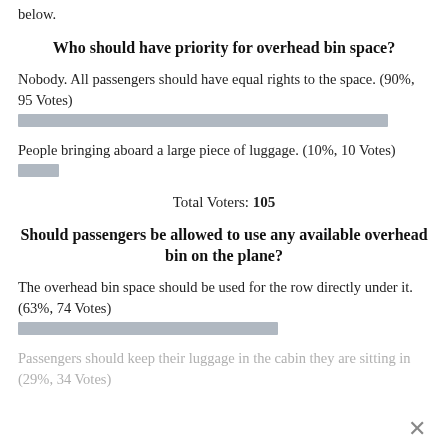below.
Who should have priority for overhead bin space?
Nobody. All passengers should have equal rights to the space. (90%, 95 Votes)
[Figure (bar-chart): Poll bar - 90%]
People bringing aboard a large piece of luggage. (10%, 10 Votes)
[Figure (bar-chart): Poll bar - 10%]
Total Voters: 105
Should passengers be allowed to use any available overhead bin on the plane?
The overhead bin space should be used for the row directly under it. (63%, 74 Votes)
[Figure (bar-chart): Poll bar - 63%]
Passengers should keep their luggage in the cabin they are sitting in (29%, 34 Votes)